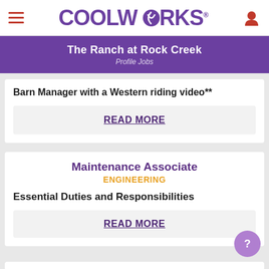CoolWorks — The Ranch at Rock Creek — Profile Jobs
Barn Manager with a Western riding video**
READ MORE
Maintenance Associate
ENGINEERING
Essential Duties and Responsibilities
READ MORE